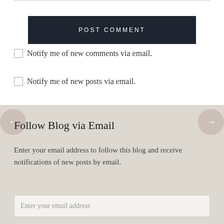POST COMMENT
Notify me of new comments via email.
Notify me of new posts via email.
Follow Blog via Email
Enter your email address to follow this blog and receive notifications of new posts by email.
Enter your email address